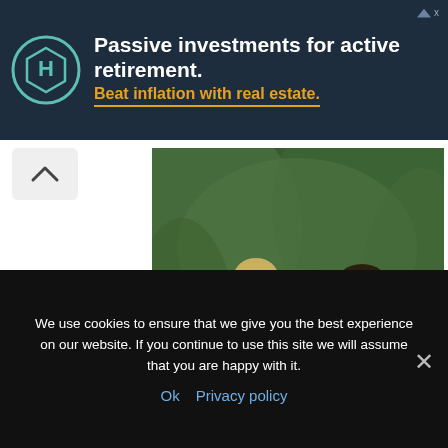[Figure (other): Advertisement banner with dark navy background. Hexagonal logo icon on left. White bold text reads 'Passive investments for active retirement.' followed by orange bold text 'Beat inflation with real estate.' with orange underline.]
[Figure (photo): Outdoor photo of a woman and man walking in a wooded area. Woman wears black top with red cardigan and plaid shirt around waist. Man wears red hoodie and carries a baby in a front-facing carrier. Lush green trees in background.]
We use cookies to ensure that we give you the best experience on our website. If you continue to use this site we will assume that you are happy with it.
Ok  Privacy policy